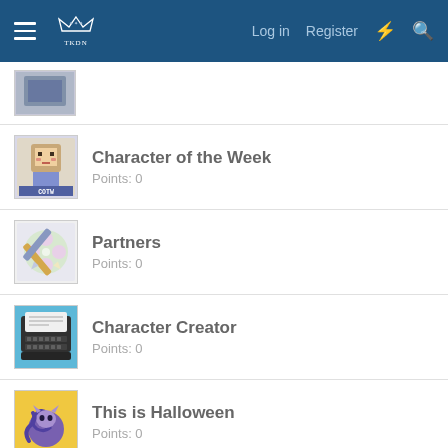Navigation bar with hamburger menu, logo, Log in, Register, lightning icon, search icon
[Figure (screenshot): Partially visible badge thumbnail at the top of the list]
Character of the Week
Points: 0
Partners
Points: 0
Character Creator
Points: 0
This is Halloween
Points: 0
What's This